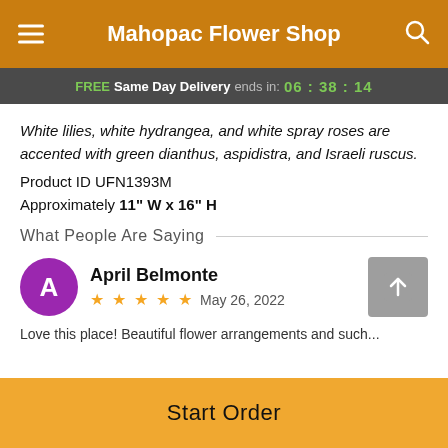Mahopac Flower Shop
FREE Same Day Delivery ends in: 06 : 38 : 14
White lilies, white hydrangea, and white spray roses are accented with green dianthus, aspidistra, and Israeli ruscus.
Product ID UFN1393M
Approximately 11" W x 16" H
What People Are Saying
April Belmonte
★★★★★  May 26, 2022
Love this place! Beautiful flower arrangements and such...